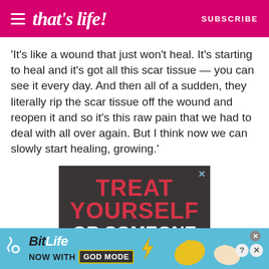that's life! SUBSCRIBE
'It's like a wound that just won't heal. It's starting to heal and it's got all this scar tissue — you can see it every day. And then all of a sudden, they literally rip the scar tissue off the wound and reopen it and so it's this raw pain that we had to deal with all over again. But I think now we can slowly start healing, growing.'
[Figure (illustration): Advertisement banner with dark background showing text: TREAT YOURSELF OR SOMEONE SPECIAL in red and white uppercase letters]
[Figure (illustration): Bottom advertisement banner for BitLife - Now With GOD MODE on a light blue background with cartoon hand illustrations]